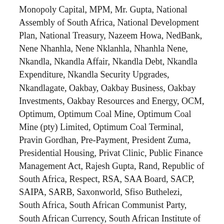Monopoly Capital, MPM, Mr. Gupta, National Assembly of South Africa, National Development Plan, National Treasury, Nazeem Howa, NedBank, Nene Nhanhla, Nene Nklanhla, Nhanhla Nene, Nkandla, Nkandla Affair, Nkandla Debt, Nkandla Expenditure, Nkandla Security Upgrades, Nkandlagate, Oakbay, Oakbay Business, Oakbay Investments, Oakbay Resources and Energy, OCM, Optimum, Optimum Coal Mine, Optimum Coal Mine (pty) Limited, Optimum Coal Terminal, Pravin Gordhan, Pre-Payment, President Zuma, Presidential Housing, Privat Clinic, Public Finance Management Act, Rajesh Gupta, Rand, Republic of South Africa, Respect, RSA, SAA Board, SACP, SAIPA, SARB, Saxonworld, Sfiso Buthelezi, South Africa, South African Communist Party, South African Currency, South African Institute of Professional Accountants, South African National Treasury, South African Rand, South African Reserve Bank, State of Capture, State Own Entreprises, Swimming Pool, Swiss Giant, Tax, Tegeta, the Executive, The Loan Consortium, Thuli Madonsela, Trevor Manuel, Tutuka Power Station, UDM, Unemployment, Union Buildings, United Democratic Movement,